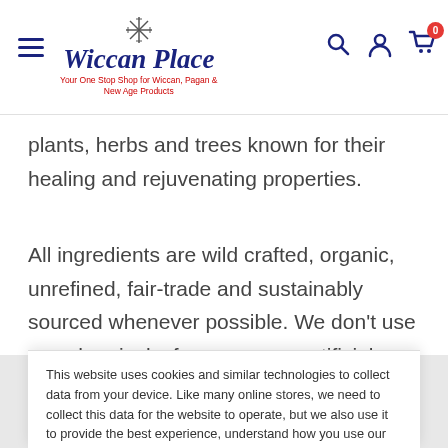[Figure (logo): Wiccan Place logo with decorative star/snowflake above, italic bold navy text 'Wiccan Place', red tagline 'Your One Stop Shop for Wiccan, Pagan & New Age Products']
plants, herbs and trees known for their healing and rejuvenating properties.
All ingredients are wild crafted, organic, unrefined, fair-trade and sustainably sourced whenever possible. We don't use any chemicals, fragrances or artificial preservatives which can stress the body's immune system. We use pure plant power!
This website uses cookies and similar technologies to collect data from your device. Like many online stores, we need to collect this data for the website to operate, but we also use it to provide the best experience, understand how you use our website, provide social media features, personalize content, deliver service messages and deliver adverts.
store credit card details nor have access to your credit card